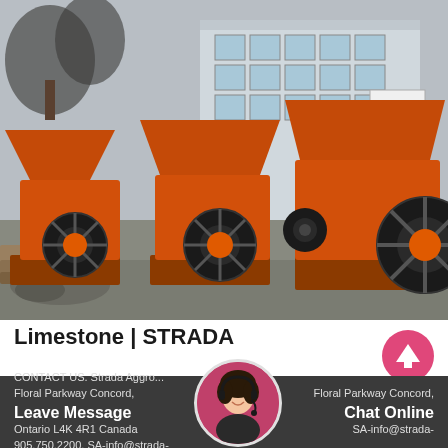[Figure (photo): Three orange industrial hammer crusher / limestone crusher machines lined up outdoors on a concrete pad, with a building and signage visible in the background. The machines are large, orange-painted, and feature flywheels and feed hoppers.]
Limestone | STRADA
[Figure (illustration): Pink/magenta circular up-arrow button (scroll-to-top UI element)]
Leave Message   CONTACT US. Strada Aggro... Floral Parkway Concord, Ontario L4K 4R1 Canada 905.750.2200, SA-info@strada-   Chat Online